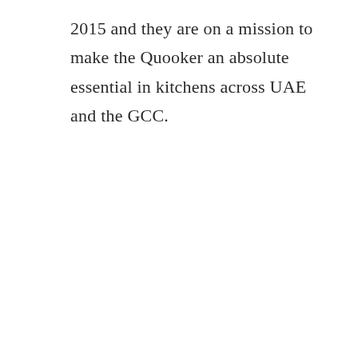2015 and they are on a mission to make the Quooker an absolute essential in kitchens across UAE and the GCC.